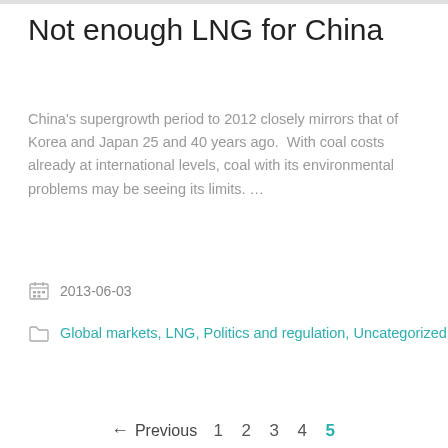Not enough LNG for China
China's supergrowth period to 2012 closely mirrors that of Korea and Japan 25 and 40 years ago.  With coal costs already at international levels, coal with its environmental problems may be seeing its limits. …
2013-06-03
Global markets, LNG, Politics and regulation, Uncategorized
← Previous  1  2  3  4  5
Facebook  Twitter  Instagram  Vimeo  Behance  Foursquare  © Copyright 2021. All Rights Reserved